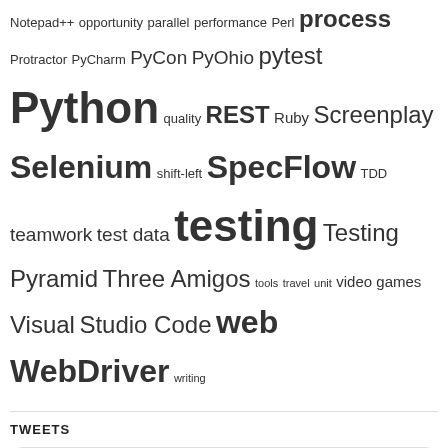Notepad++ opportunity parallel performance Perl process Protractor PyCharm PyCon PyOhio pytest Python quality REST Ruby Screenplay Selenium shift-left SpecFlow TDD teamwork test data testing Testing Pyramid Three Amigos tools travel unit video games Visual Studio Code web WebDriver writing
TWEETS
Tweets from @AutomationPanda
Pandy K... @Automation... · 8h
Replying to @AutomationPanda
I'm also dropping a MAJOR blog article tomorrow morning on AutomationPanda.com connected to this keynote.